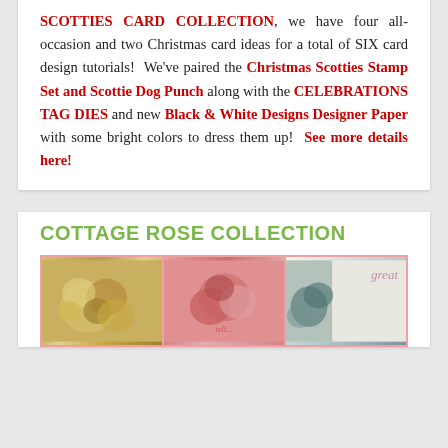SCOTTIES CARD COLLECTION, we have four all-occasion and two Christmas card ideas for a total of SIX card design tutorials! We've paired the Christmas Scotties Stamp Set and Scottie Dog Punch along with the CELEBRATIONS TAG DIES and new Black & White Designs Designer Paper with some bright colors to dress them up! See more details here!
COTTAGE ROSE COLLECTION
[Figure (photo): Three card photos shown side by side: left shows yellow/gold flowers, middle shows pink/coral flowers, right shows a card with cursive text reading 'great']